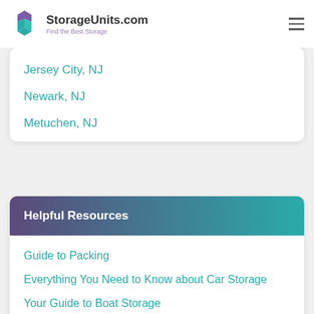StorageUnits.com — Find the Best Storage
Jersey City, NJ
Newark, NJ
Metuchen, NJ
Helpful Resources
Guide to Packing
Everything You Need to Know about Car Storage
Your Guide to Boat Storage
RV Storage 101